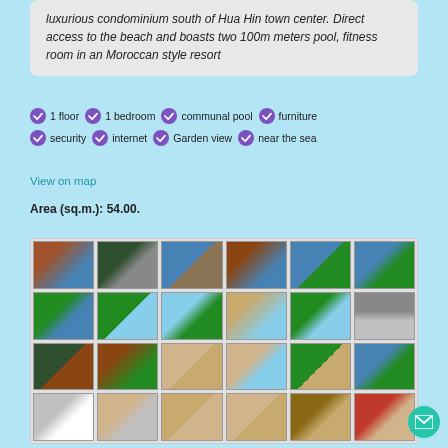luxurious condominium south of Hua Hin town center. Direct access to the beach and boasts two 100m meters pool, fitness room in an Moroccan style resort
1 floor
1 bedroom
communal pool
furniture
security
internet
Garden view
near the sea
View on map
Area (sq.m.): 54.00.
[Figure (photo): Grid of 24 property photos showing pool, beach, palm trees, and interior rooms of a Moroccan style resort condominium in Hua Hin]